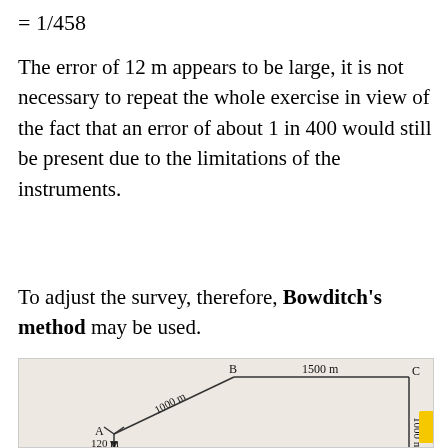The error of 12 m appears to be large, it is not necessary to repeat the whole exercise in view of the fact that an error of about 1 in 400 would still be present due to the limitations of the instruments.
To adjust the survey, therefore, Bowditch's method may be used.
[Figure (engineering-diagram): Survey traverse diagram showing points A, B, C connected by lines. Line AB labeled 1000 m, line BC labeled 1500 m (horizontal), line CD labeled 1000 m (vertical). Point A has an arrow indicating 120 m below.]